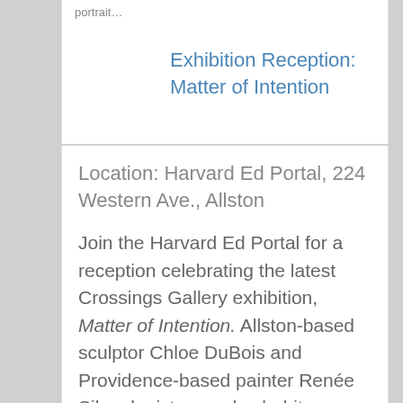portrait…
Exhibition Reception: Matter of Intention
Location: Harvard Ed Portal, 224 Western Ave., Allston
Join the Harvard Ed Portal for a reception celebrating the latest Crossings Gallery exhibition, Matter of Intention. Allston-based sculptor Chloe DuBois and Providence-based painter Renée Silva depict everyday habits through recreation and abstraction. Matter of Intention focuses on materiality and pattern to explore personal